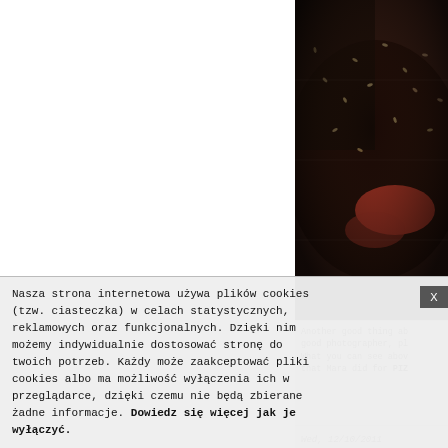[Figure (photo): Dark food photograph showing what appears to be pizza or baked dish with seeds/toppings, with red accent colors visible]
Another good thing ab good photographer, pl What you can see abov that Mara did for PIZ
Wed, 12/10/2011
Nasza strona internetowa używa plików cookies (tzw. ciasteczka) w celach statystycznych, reklamowych oraz funkcjonalnych. Dzięki nim możemy indywidualnie dostosować stronę do twoich potrzeb. Każdy może zaakceptować pliki cookies albo ma możliwość wyłączenia ich w przeglądarce, dzięki czemu nie będą zbierane żadne informacje. Dowiedz się więcej jak je wyłączyć.